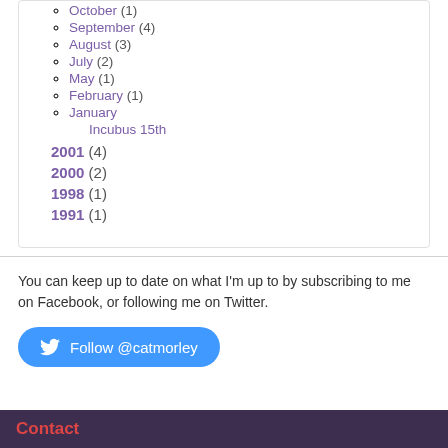October (1)
September (4)
August (3)
July (2)
May (1)
February (1)
January
Incubus 15th
2001 (4)
2000 (2)
1998 (1)
1991 (1)
You can keep up to date on what I'm up to by subscribing to me on Facebook, or following me on Twitter.
Follow @catmorley
Contact